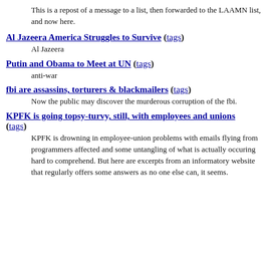This is a repost of a message to a list, then forwarded to the LAAMN list, and now here.
Al Jazeera America Struggles to Survive (tags)
Al Jazeera
Putin and Obama to Meet at UN (tags)
anti-war
fbi are assassins, torturers & blackmailers (tags)
Now the public may discover the murderous corruption of the fbi.
KPFK is going topsy-turvy, still, with employees and unions (tags)
KPFK is drowning in employee-union problems with emails flying from programmers affected and some untangling of what is actually occuring hard to comprehend. But here are excerpts from an informatory website that regularly offers some answers as no one else can, it seems.